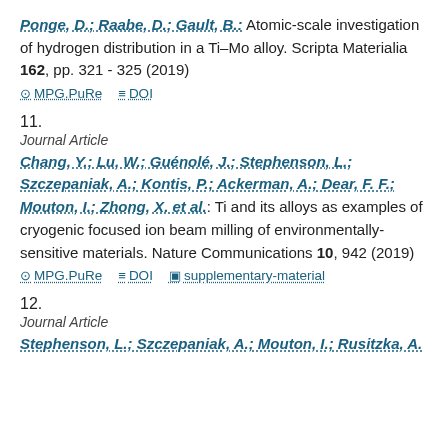Ponge, D.; Raabe, D.; Gault, B.: Atomic-scale investigation of hydrogen distribution in a Ti–Mo alloy. Scripta Materialia 162, pp. 321 - 325 (2019)
MPG.PuRe  DOI
11.
Journal Article
Chang, Y.; Lu, W.; Guénolé, J.; Stephenson, L.; Szczepaniak, A.; Kontis, P.; Ackerman, A.; Dear, F. F.; Mouton, I.; Zhong, X. et al.: Ti and its alloys as examples of cryogenic focused ion beam milling of environmentally-sensitive materials. Nature Communications 10, 942 (2019)
MPG.PuRe  DOI  supplementary-material
12.
Journal Article
Stephenson, L.; Szczepaniak, A.; Mouton, I.; Rusitzka, A.